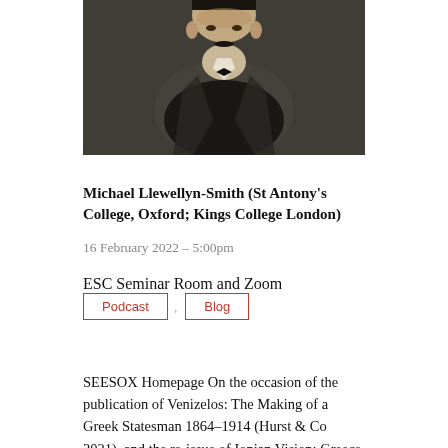[Figure (photo): Black and white portrait photograph of a man in formal attire with a bow tie, cropped to show upper body]
Michael Llewellyn-Smith (St Antony's College, Oxford; Kings College London)
16 February 2022 – 5:00pm
ESC Seminar Room and Zoom
Podcast , Blog
SEESOX Homepage On the occasion of the publication of Venizelos: The Making of a Greek Statesman 1864–1914 (Hurst & Co 2021), and the re-issue of Ionian Vision: Greece in Asia Minor 1919 – 1922 (… Read more